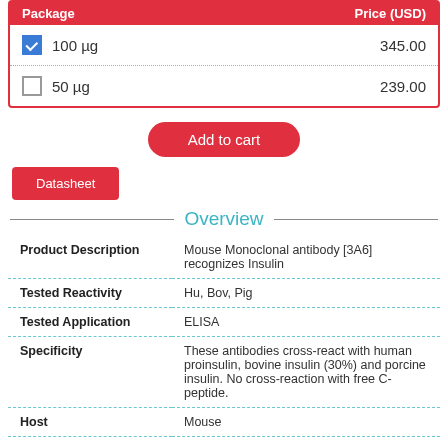| Package | Price (USD) |
| --- | --- |
| 100 µg | 345.00 |
| 50 µg | 239.00 |
Add to cart
Datasheet
Overview
|  |  |
| --- | --- |
| Product Description | Mouse Monoclonal antibody [3A6] recognizes Insulin |
| Tested Reactivity | Hu, Bov, Pig |
| Tested Application | ELISA |
| Specificity | These antibodies cross-react with human proinsulin, bovine insulin (30%) and porcine insulin. No cross-reaction with free C-peptide. |
| Host | Mouse |